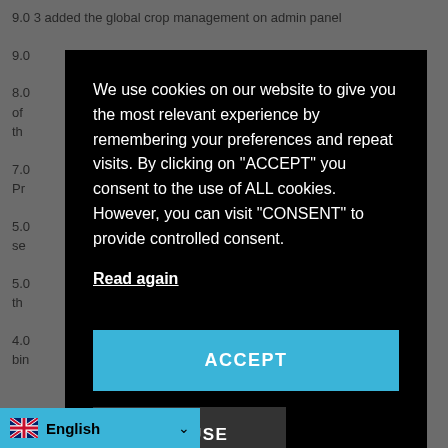9.0 3 added the global crop management on admin panel
9.0
8.0 of th
7.0 Pr
5.0 se
5.0 th
4.0 bin
We use cookies on our website to give you the most relevant experience by remembering your preferences and repeat visits. By clicking on "ACCEPT" you consent to the use of ALL cookies. However, you can visit "CONSENT" to provide controlled consent.
Read again
ACCEPT
REFUSE
English